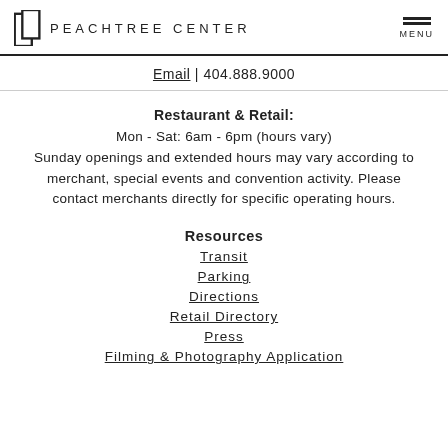PEACHTREE CENTER
Email | 404.888.9000
Restaurant & Retail:
Mon - Sat: 6am - 6pm (hours vary)
Sunday openings and extended hours may vary according to merchant, special events and convention activity. Please contact merchants directly for specific operating hours.
Resources
Transit
Parking
Directions
Retail Directory
Press
Filming & Photography Application